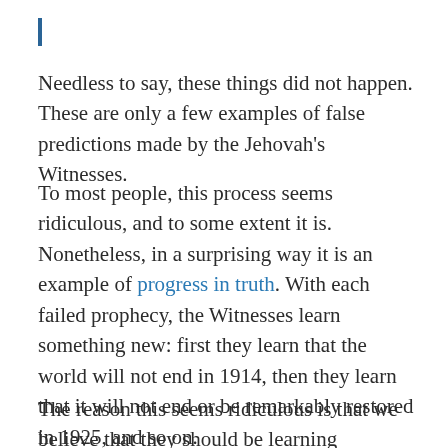Needless to say, these things did not happen. These are only a few examples of false predictions made by the Jehovah's Witnesses.
To most people, this process seems ridiculous, and to some extent it is. Nonetheless, in a surprising way it is an example of progress in truth. With each failed prophecy, the Witnesses learn something new: first they learn that the world will not end in 1914, then they learn that it will not end or be remarkably restored in 1925, and so on.
The reason this seems ridiculous is that we believe that they should be learning something